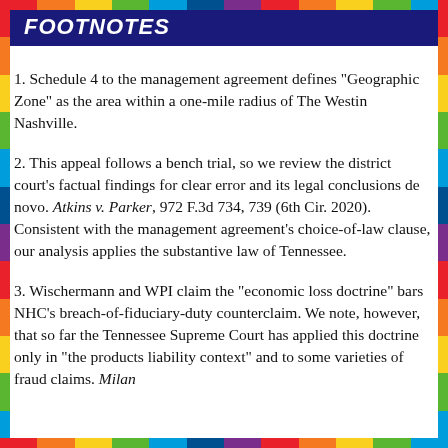FootNotes
1. Schedule 4 to the management agreement defines "Geographic Zone" as the area within a one-mile radius of The Westin Nashville.
2. This appeal follows a bench trial, so we review the district court's factual findings for clear error and its legal conclusions de novo. Atkins v. Parker, 972 F.3d 734, 739 (6th Cir. 2020). Consistent with the management agreement's choice-of-law clause, our analysis applies the substantive law of Tennessee.
3. Wischermann and WPI claim the "economic loss doctrine" bars NHC's breach-of-fiduciary-duty counterclaim. We note, however, that so far the Tennessee Supreme Court has applied this doctrine only in "the products liability context" and to some varieties of fraud claims. Milan